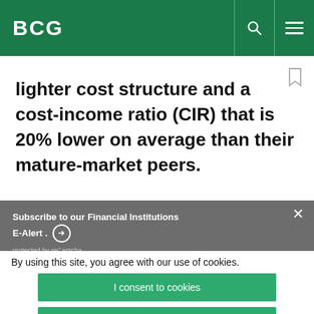BCG
lighter cost structure and a cost-income ratio (CIR) that is 20% lower on average than their mature-market peers.
Subscribe to our Financial Institutions E-Alert . protected by reCaptcha
By using this site, you agree with our use of cookies.
I consent to cookies
Want to know more?
Read our Cookie Policy